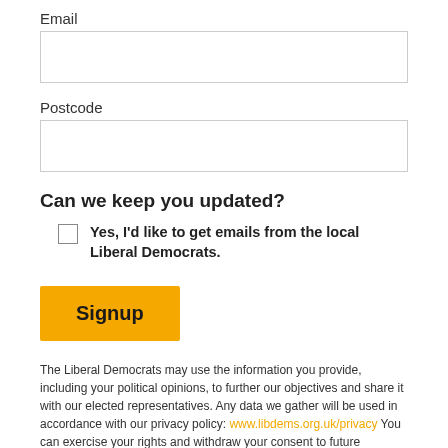Email
Postcode
Can we keep you updated?
Yes, I'd like to get emails from the local Liberal Democrats.
Signup
The Liberal Democrats may use the information you provide, including your political opinions, to further our objectives and share it with our elected representatives. Any data we gather will be used in accordance with our privacy policy: www.libdems.org.uk/privacy You can exercise your rights and withdraw your consent to future communications by contacting us: data.protection@libdems.org.uk or: